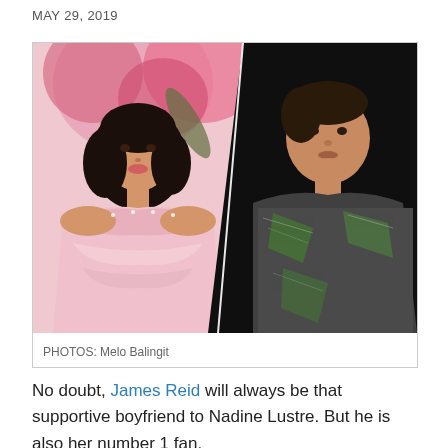MAY 29, 2019
[Figure (photo): Split photo: left side shows a young woman in a pink off-shoulder ruffled dress with short black hair in front of pink flowers background; right side shows a young man in a metallic green patterned jacket with hand on chin against a dark background.]
PHOTOS: Melo Balingit
No doubt, James Reid will always be that supportive boyfriend to Nadine Lustre. But he is also her number 1 fan.